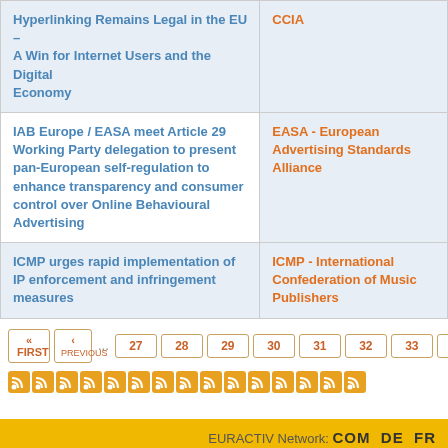| Article Title | Organization |
| --- | --- |
| Hyperlinking Remains Legal in the EU – A Win for Internet Users and the Digital Economy | CCIA |
| IAB Europe / EASA meet Article 29 Working Party delegation to present pan-European self-regulation to enhance transparency and consumer control over Online Behavioural Advertising | EASA - European Advertising Standards Alliance |
| ICMP urges rapid implementation of IP enforcement and infringement measures | ICMP - International Confederation of Music Publishers |
« FIRST ‹ PREVIOUS ... 27 28 29 30 31 32 33 3
[Figure (other): Row of orange RSS feed icons]
EURACTIV Network: COM DE FR
Efficacité et transparence des acteurs européens